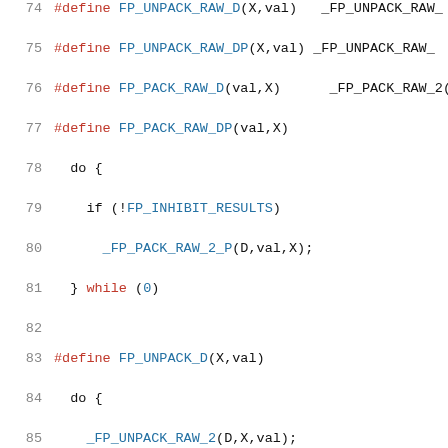[Figure (screenshot): Source code listing showing C preprocessor macro definitions (lines 74-95). Code uses #define directives for FP_UNPACK and FP_PACK macros with do-while(0) patterns. Syntax highlighted: keywords in red, identifiers/numbers in blue, rest in black.]